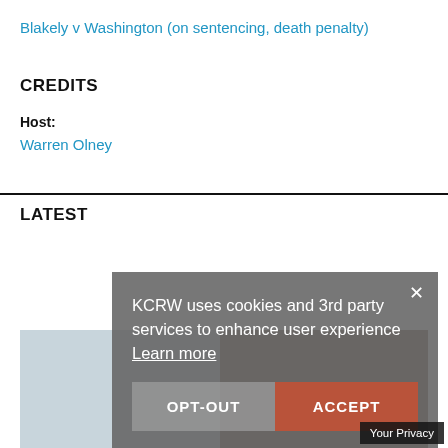Blakely v Washington (on sentencing, death penalty)
CREDITS
Host:
Warren Olney
LATEST
[Figure (screenshot): Cookie consent banner overlay with 'OPT-OUT' and 'ACCEPT' buttons, showing 'KCRW uses cookies and 3rd party services to enhance user experience. Learn more' and a 'Your Privacy' label at bottom right.]